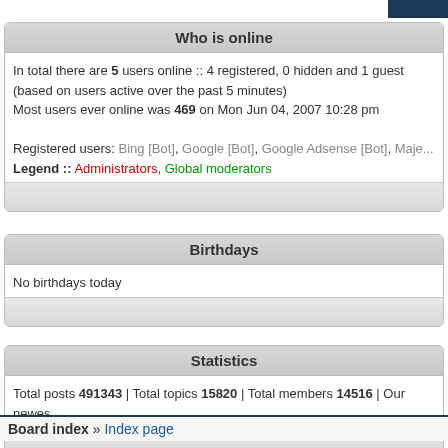Who is online
In total there are 5 users online :: 4 registered, 0 hidden and 1 guest (based on users active over the past 5 minutes)
Most users ever online was 469 on Mon Jun 04, 2007 10:28 pm
Registered users: Bing [Bot], Google [Bot], Google Adsense [Bot], Maje...
Legend :: Administrators, Global moderators
Birthdays
No birthdays today
Statistics
Total posts 491343 | Total topics 15820 | Total members 14516 | Our newes...
Board index » Index page